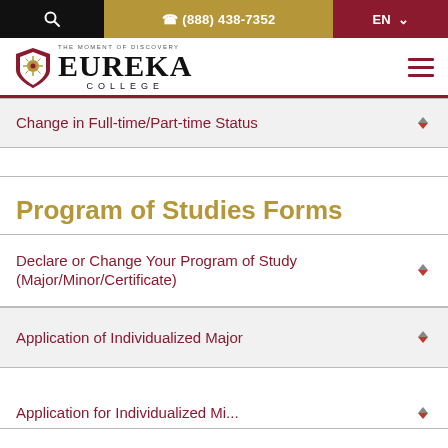Search | (888) 438-7352 | EN
[Figure (logo): Eureka College logo with shield emblem and text 'THE MOMENT OF DISCOVERY / EUREKA COLLEGE']
Change in Full-time/Part-time Status
Program of Studies Forms
Declare or Change Your Program of Study (Major/Minor/Certificate)
Application of Individualized Major
Application for Individualized Mi...